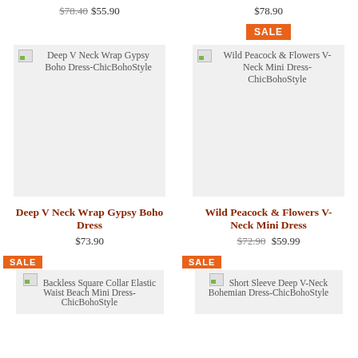$78.40 $55.90   $78.90
[Figure (other): SALE badge (orange)]
[Figure (photo): Deep V Neck Wrap Gypsy Boho Dress-ChicBohoStyle product image placeholder]
[Figure (photo): Wild Peacock & Flowers V-Neck Mini Dress-ChicBohoStyle product image placeholder]
Deep V Neck Wrap Gypsy Boho Dress
$73.90
Wild Peacock & Flowers V-Neck Mini Dress
$72.90 $59.99
[Figure (other): SALE badge (orange)]
[Figure (other): SALE badge (orange)]
[Figure (photo): Backless Square Collar Elastic Waist Beach Mini Dress-ChicBohoStyle product image placeholder]
[Figure (photo): Short Sleeve Deep V-Neck Bohemian Dress-ChicBohoStyle product image placeholder]